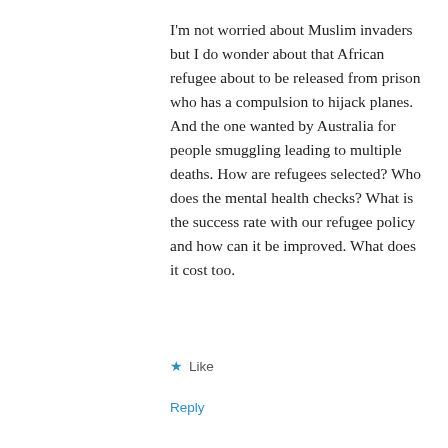I'm not worried about Muslim invaders but I do wonder about that African refugee about to be released from prison who has a compulsion to hijack planes. And the one wanted by Australia for people smuggling leading to multiple deaths. How are refugees selected? Who does the mental health checks? What is the success rate with our refugee policy and how can it be improved. What does it cost too.
★ Like
Reply